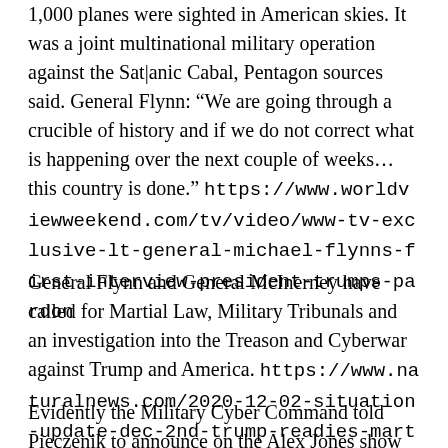1,000 planes were sighted in American skies. It was a joint multinational military operation against the Sat|anic Cabal, Pentagon sources said. General Flynn: “We are going through a crucible of history and if we do not correct what is happening over the next couple of weeks…this country is done.” https://www.worldviewweekend.com/tv/video/www-tv-exclusive-lt-general-michael-flynns-first-interview-president-trumps-pardon
General Flynn and General McInerney have called for Martial Law, Military Tribunals and an investigation into the Treason and Cyberwar against Trump and America. https://www.naturalnews.com/2020-12-02-situation-update-dec-2nd-trump-readies-martial-law-option.html
Evidently the Military Cyber Command told Pieczenik to announce on the Alex Jones show that we had Watermarks